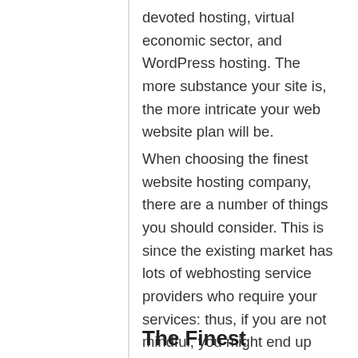devoted hosting, virtual economic sector, and WordPress hosting. The more substance your site is, the more intricate your web website plan will be.
When choosing the finest website hosting company, there are a number of things you should consider. This is since the existing market has lots of webhosting service providers who require your services: thus, if you are not mindful, you might end up selecting the incorrect webhosting company. Before venturing into any webhosting business, you must examine on its reliability, uptime, security, compatibility, and bandwidth.
The Finest